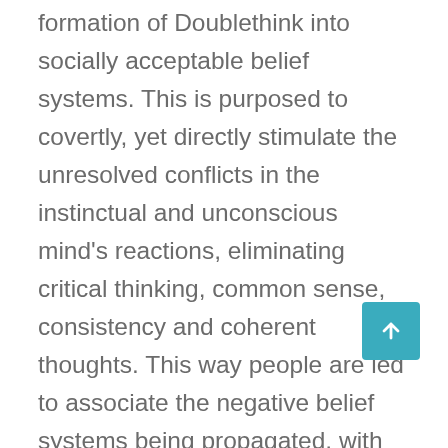formation of Doublethink into socially acceptable belief systems. This is purposed to covertly, yet directly stimulate the unresolved conflicts in the instinctual and unconscious mind's reactions, eliminating critical thinking, common sense, consistency and coherent thoughts. This way people are led to associate the negative belief systems being propagated, with the positive associations being programmed for them. When the actions or results of those associations are actually entirely negative and spiritually destructive to them. As an example, why would humanity endorse the death culture when its purpose is to enslave and kill members of the human race? This cognitive dissonance in action, the deliberate ignoring and denial of the War Over Consciousness